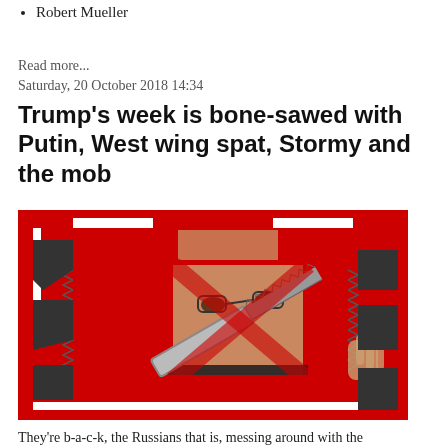Robert Mueller
Read more...
Saturday, 20 October 2018 14:34
Trump's week is bone-sawed with Putin, West wing spat, Stormy and the mob
[Figure (illustration): Illustration on red background showing a person's face (resembling Jamal Khashoggi) partially visible through ripped paper/bone-saw cutouts on a red field, with a metallic bone saw overlaid.]
They’re b-a-c-k, the Russians that is, messing around with the